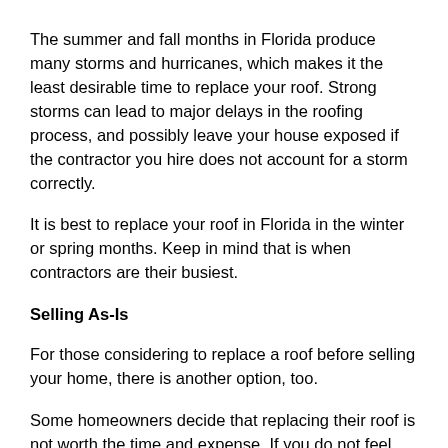The summer and fall months in Florida produce many storms and hurricanes, which makes it the least desirable time to replace your roof. Strong storms can lead to major delays in the roofing process, and possibly leave your house exposed if the contractor you hire does not account for a storm correctly.
It is best to replace your roof in Florida in the winter or spring months. Keep in mind that is when contractors are their busiest.
Selling As-Is
For those considering to replace a roof before selling your home, there is another option, too.
Some homeowners decide that replacing their roof is not worth the time and expense. If you do not feel like taking on a project of that magnitude, you can always consider selling